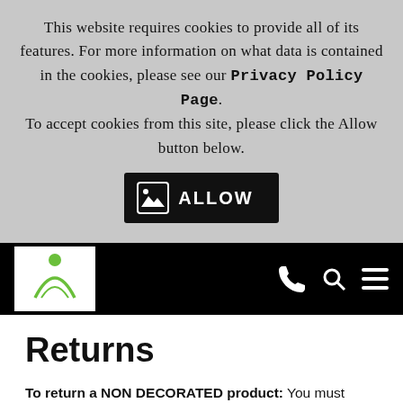This website requires cookies to provide all of its features. For more information on what data is contained in the cookies, please see our Privacy Policy Page. To accept cookies from this site, please click the Allow button below.
[Figure (screenshot): Black button with image icon and text ALLOW]
[Figure (logo): Website logo with green circle and swoosh figure on white background, navigation bar with phone, search, and menu icons on black background]
Returns
To return a NON DECORATED product: You must request an RMA (Return Merchandise